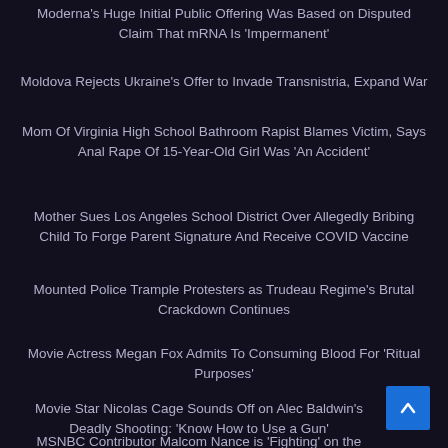Moderna's Huge Initial Public Offering Was Based on Disputed Claim That mRNA Is 'Impermanent'
Moldova Rejects Ukraine's Offer to Invade Transnistria, Expand War
Mom Of Virginia High School Bathroom Rapist Blames Victim, Says Anal Rape Of 15-Year-Old Girl Was 'An Accident'
Mother Sues Los Angeles School District Over Allegedly Bribing Child To Forge Parent Signature And Receive COVID Vaccine
Mounted Police Trample Protesters as Trudeau Regime's Brutal Crackdown Continues
Movie Actress Megan Fox Admits To Consuming Blood For 'Ritual Purposes'
Movie Star Nicolas Cage Sounds Off on Alec Baldwin's Deadly Shooting: 'Know How to Use a Gun'
MSNBC Contributor Malcom Nance is 'Fighting' on the Ground in Ukraine